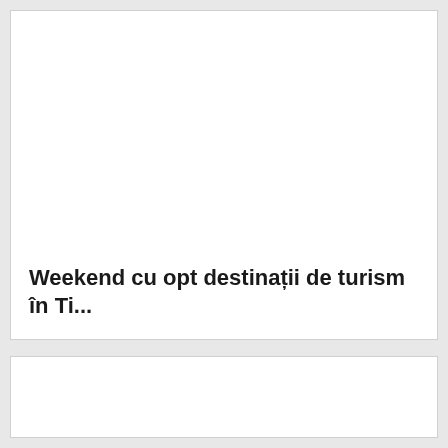Weekend cu opt destinații de turism în Ti...
[Figure (other): Empty white card area (top, no visible image content)]
[Figure (other): Empty white card area (bottom, no visible image content)]